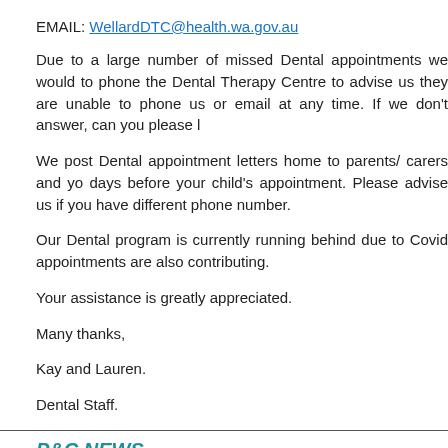EMAIL: WellardDTC@health.wa.gov.au
Due to a large number of missed Dental appointments we would to phone the Dental Therapy Centre to advise us they are unable to phone us or email at any time. If we don't answer, can you please l
We post Dental appointment letters home to parents/ carers and yo days before your child's appointment. Please advise us if you have different phone number.
Our Dental program is currently running behind due to Covid appointments are also contributing.
Your assistance is greatly appreciated.
Many thanks,
Kay and Lauren.
Dental Staff.
P&C NEWS